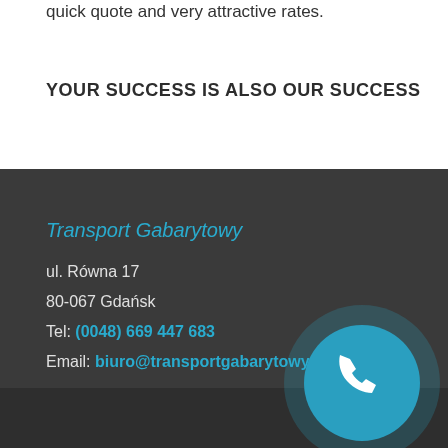quick quote and very attractive rates.
YOUR SUCCESS IS ALSO OUR SUCCESS
Transport Gabarytowy
ul. Równa 17
80-067 Gdańsk
Tel: (0048) 669 447 683
Email: biuro@transportgabarytowy.pl